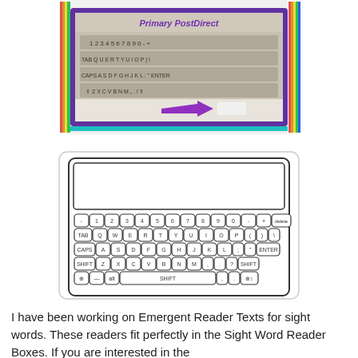[Figure (photo): Photo of a paper keyboard craft with colorful rainbow border (purple, teal, orange, yellow stripes). Shows a printed keyboard layout with QWERTY keys, a purple arrow pointing right toward a white label/eraser area.]
[Figure (illustration): Black and white line-art illustration of a QWERTY keyboard layout with a blank screen/display area at the top. Keys include numbers row, QWERTY row, ASDF row, ZXCV row, and a bottom row with spacebar labeled SHIFT. Function keys include TAB, CAPS, SHIFT, ENTER, delete.]
I have been working on Emergent Reader Texts for sight words.  These readers fit perfectly in the Sight Word Reader Boxes.  If you are interested in the